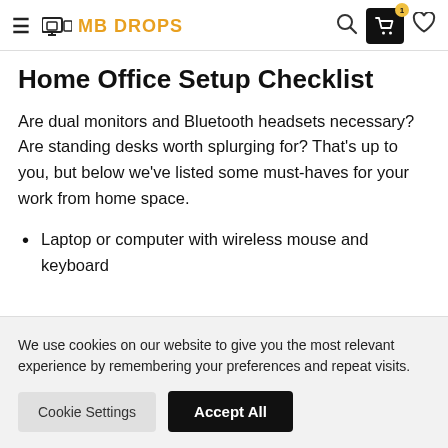MB DROPS
Home Office Setup Checklist
Are dual monitors and Bluetooth headsets necessary? Are standing desks worth splurging for? That's up to you, but below we've listed some must-haves for your work from home space.
Laptop or computer with wireless mouse and keyboard
We use cookies on our website to give you the most relevant experience by remembering your preferences and repeat visits.